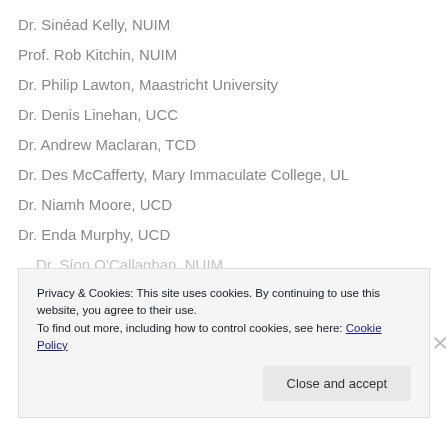Dr. Sinéad Kelly, NUIM
Prof. Rob Kitchin, NUIM
Dr. Philip Lawton, Maastricht University
Dr. Denis Linehan, UCC
Dr. Andrew Maclaran, TCD
Dr. Des McCafferty, Mary Immaculate College, UL
Dr. Niamh Moore, UCD
Dr. Enda Murphy, UCD
Dr. Síon O'Callaghan, NUIM
Privacy & Cookies: This site uses cookies. By continuing to use this website, you agree to their use. To find out more, including how to control cookies, see here: Cookie Policy